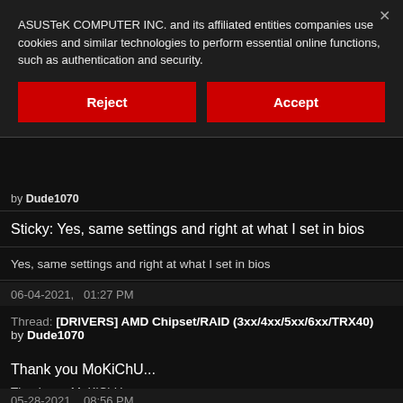ASUSTeK COMPUTER INC. and its affiliated entities companies use cookies and similar technologies to perform essential online functions, such as authentication and security.
[Figure (screenshot): Two buttons: Reject (left, red) and Accept (right, red)]
by Dude1070
Sticky: Yes, same settings and right at what I set in bios
Yes, same settings and right at what I set in bios
06-04-2021,   01:27 PM
Thread: [DRIVERS] AMD Chipset/RAID (3xx/4xx/5xx/6xx/TRX40)
by Dude1070
Thank you MoKiChU...
Thank you MoKiChU
05-28-2021,   08:56 PM